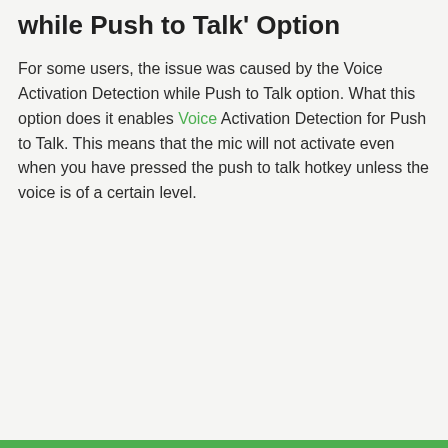while Push to Talk' Option
For some users, the issue was caused by the Voice Activation Detection while Push to Talk option. What this option does it enables Voice Activation Detection for Push to Talk. This means that the mic will not activate even when you have pressed the push to talk hotkey unless the voice is of a certain level.